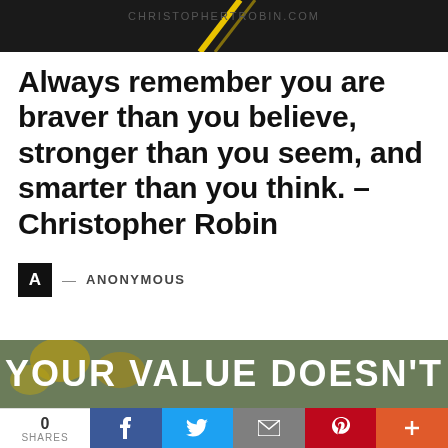[Figure (photo): Dark banner image with yellow diagonal line, partially visible website URL text at top]
Always remember you are braver than you believe, stronger than you seem, and smarter than you think. – Christopher Robin
A — ANONYMOUS
[Figure (photo): Photo with yellow flowers/foliage and bold white text reading YOUR VALUE DOESN'T]
0 SHARES  f  (Twitter bird)  (envelope)  (Pinterest P)  +